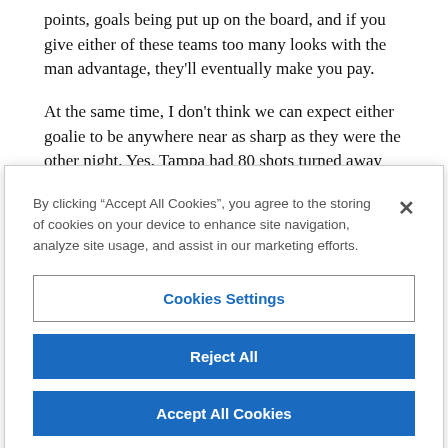points, goals being put up on the board, and if you give either of these teams too many looks with the man advantage, they'll eventually make you pay.
At the same time, I don't think we can expect either goalie to be anywhere near as sharp as they were the other night. Yes, Tampa had 80 shots turned away the other night, but it was still just one game
By clicking “Accept All Cookies”, you agree to the storing of cookies on your device to enhance site navigation, analyze site usage, and assist in our marketing efforts.